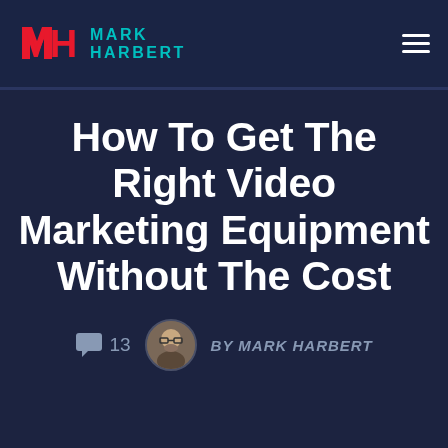MARK HARBERT
How To Get The Right Video Marketing Equipment Without The Cost
13  BY MARK HARBERT